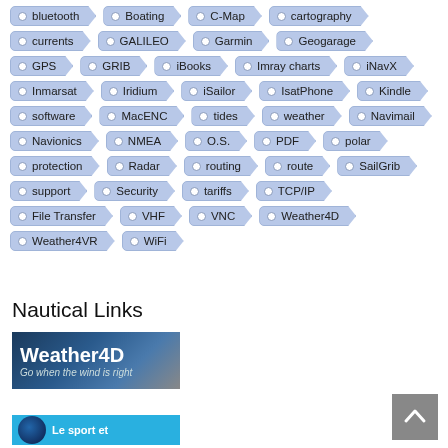bluetooth
Boating
C-Map
cartography
currents
GALILEO
Garmin
Geogarage
GPS
GRIB
iBooks
Imray charts
iNavX
Inmarsat
Iridium
iSailor
IsatPhone
Kindle
software
MacENC
tides
weather
Navimail
Navionics
NMEA
O.S.
PDF
polar
protection
Radar
routing
route
SailGrib
support
Security
tariffs
TCP/IP
File Transfer
VHF
VNC
Weather4D
Weather4VR
WiFi
Nautical Links
[Figure (screenshot): Weather4D banner image: dark blue nautical background with text 'Weather4D Go when the wind is right']
[Figure (screenshot): Le sport et... banner with light blue background and globe icon]